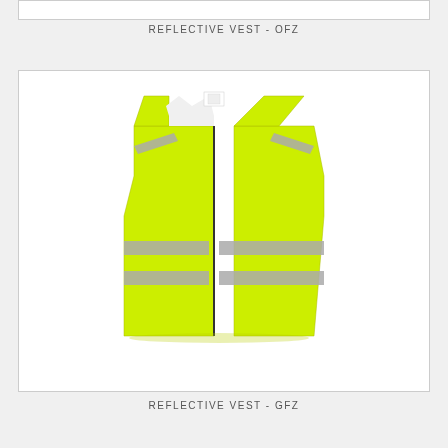REFLECTIVE VEST - OFZ
[Figure (photo): A high-visibility reflective safety vest in bright yellow-green color with grey/silver reflective strips across the chest and diagonal strips over the shoulders. The vest is displayed flat against a white background inside a bordered box.]
REFLECTIVE VEST - GFZ